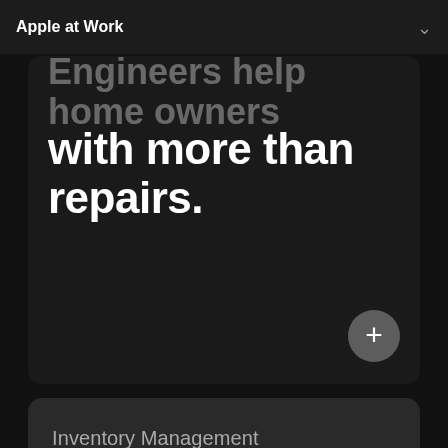Apple at Work
with more than repairs.
Inventory Management